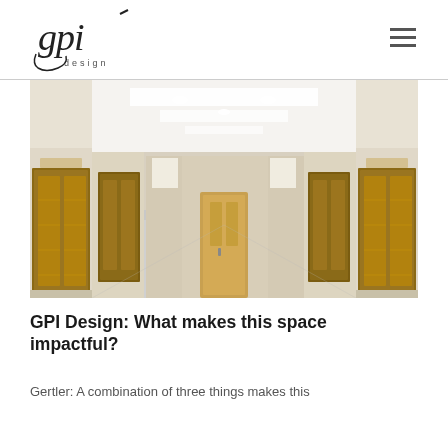gpi design
[Figure (photo): Interior corridor with elevator doors on both sides, cream-colored walls, recessed ceiling lights, and a long hallway with a wooden door at the far end. The floor is polished light gray.]
GPI Design: What makes this space impactful?
Gertler: A combination of three things makes this